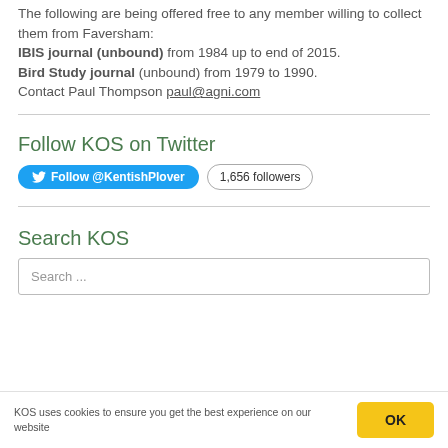The following are being offered free to any member willing to collect them from Faversham: IBIS journal (unbound) from 1984 up to end of 2015. Bird Study journal (unbound) from 1979 to 1990. Contact Paul Thompson paul@agni.com
Follow KOS on Twitter
[Figure (infographic): Twitter follow button for @KentishPlover with 1,656 followers badge]
Search KOS
Search ...
KOS uses cookies to ensure you get the best experience on our website